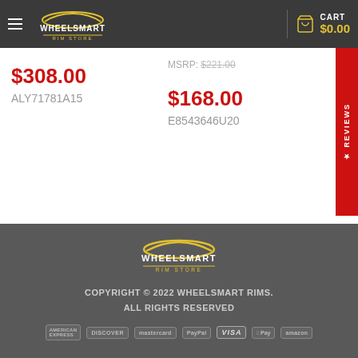[Figure (logo): WheelSmart Rim Store logo in header - car silhouette with stylized text]
CART $0.00
$308.00
ALY71781A15
MSRP: $221.00
$168.00
E8543646U20
★ REVIEWS
[Figure (logo): WheelSmart Rim Store logo in footer]
COPYRIGHT © 2022 WHEELSMART RIMS.
ALL RIGHTS RESERVED
[Figure (infographic): Payment icons: American Express, Discover, Mastercard, PayPal, VISA, Apple Pay, Amazon]